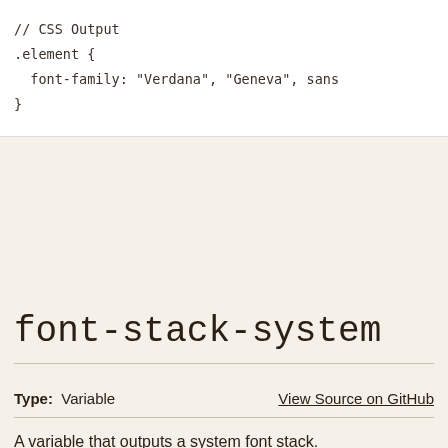[Figure (screenshot): Code block showing CSS Output with .element { font-family: "Verdana", "Geneva", sans... }]
font-stack-system
Type: Variable    View Source on GitHub
A variable that outputs a system font stack.